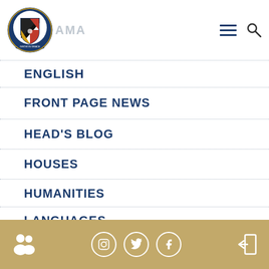AMA
ENGLISH
FRONT PAGE NEWS
HEAD'S BLOG
HOUSES
HUMANITIES
LANGUAGES
LIBRARY
MATCH REPORTS
[Figure (logo): School crest/logo with shield design in red, black, gold and blue with ribbon banner reading GROW IN GRACE]
Social media icons: Instagram, Twitter, Facebook. People icon and login icon.